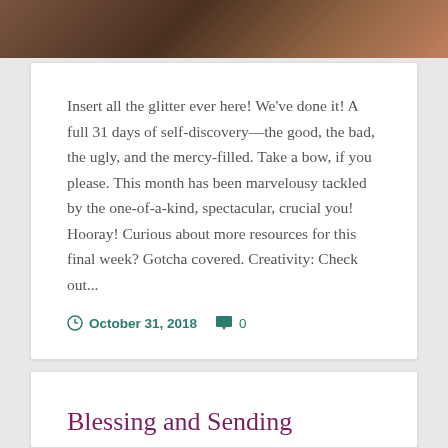[Figure (photo): Partial photo strip at top of page showing a warm brown/amber toned image]
Insert all the glitter ever here! We've done it! A full 31 days of self-discovery—the good, the bad, the ugly, and the mercy-filled. Take a bow, if you please. This month has been marvelousy tackled by the one-of-a-kind, spectacular, crucial you! Hooray! Curious about more resources for this final week? Gotcha covered. Creativity: Check out...
Continue Reading →
October 31, 2018  0
Blessing and Sending